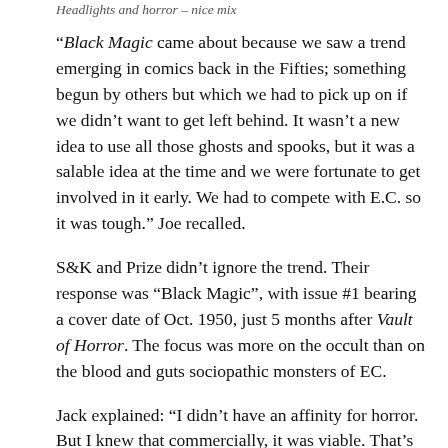Headlights and horror – nice mix
“Black Magic came about because we saw a trend emerging in comics back in the Fifties; something begun by others but which we had to pick up on if we didn’t want to get left behind. It wasn’t a new idea to use all those ghosts and spooks, but it was a salable idea at the time and we were fortunate to get involved in it early. We had to compete with E.C. so it was tough.” Joe recalled.
S&K and Prize didn’t ignore the trend. Their response was “Black Magic”, with issue #1 bearing a cover date of Oct. 1950, just 5 months after Vault of Horror. The focus was more on the occult than on the blood and guts sociopathic monsters of EC.
Jack explained: “I didn’t have an affinity for horror. But I knew that commercially, it was viable. That’s why we both finally did it.”... We didn’t do horror in the sense of haunted houses or